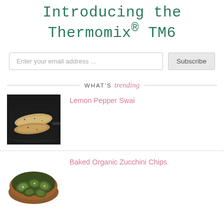Introducing the Thermomix® TM6
Enter your email address ...
Subscribe
WHAT'S trending
Lemon Pepper Swai
[Figure (photo): Fish fillets cooking in a black pan on a stovetop]
Baked Organic Zucchini Chips
[Figure (photo): Sliced zucchini chips in a brown bowl]